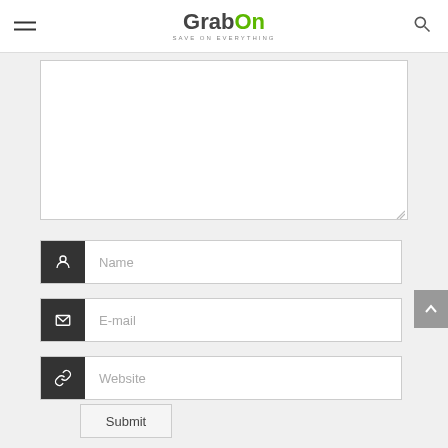GrabOn - SAVE ON EVERYTHING
[Figure (screenshot): GrabOn website contact/comment form with textarea, Name, E-mail, Website fields and Submit button]
Name
E-mail
Website
Submit